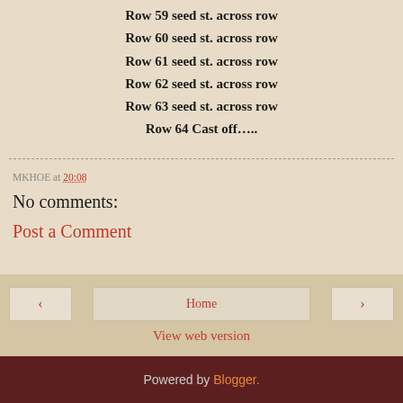Row 59 seed st. across row
Row 60 seed st. across row
Row 61 seed st. across row
Row 62 seed st. across row
Row 63 seed st. across row
Row 64 Cast off…..
MKHOE at 20:08
No comments:
Post a Comment
Home | < | > | View web version
Powered by Blogger.